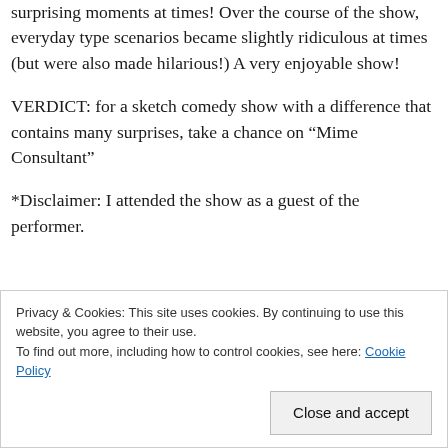surprising moments at times! Over the course of the show, everyday type scenarios became slightly ridiculous at times (but were also made hilarious!) A very enjoyable show!
VERDICT: for a sketch comedy show with a difference that contains many surprises, take a chance on “Mime Consultant”
*Disclaimer: I attended the show as a guest of the performer.
Privacy & Cookies: This site uses cookies. By continuing to use this website, you agree to their use.
To find out more, including how to control cookies, see here: Cookie Policy
Close and accept